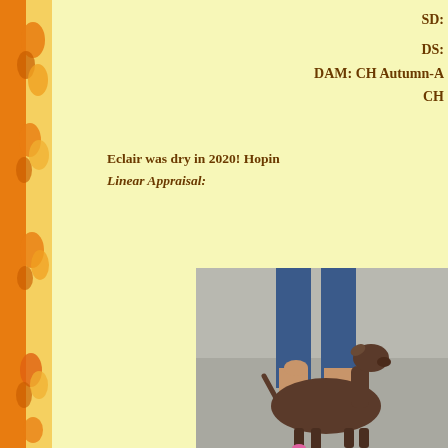SD:
DS:
DAM: CH Autumn-A
CH
Eclair was dry in 2020! Hoping
Linear Appraisal:
[Figure (photo): A brown/chocolate goat standing outdoors on pavement next to a person wearing jeans, the goat wearing a pink horn band or leg wrap.]